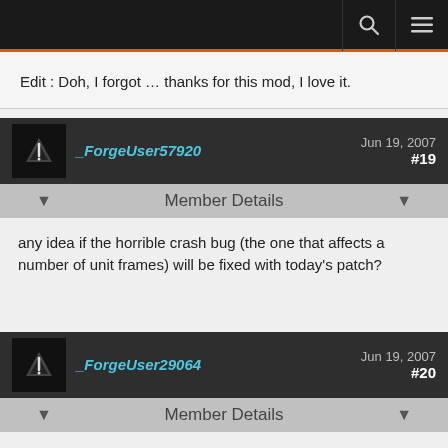Edit : Doh, I forgot … thanks for this mod, I love it.
_ForgeUser57920 Jun 19, 2007 #19
Member Details
any idea if the horrible crash bug (the one that affects a number of unit frames) will be fixed with today's patch?
_ForgeUser29064 Jun 19, 2007 #20
Member Details
The crash can be emulated by being leader in a raid and then